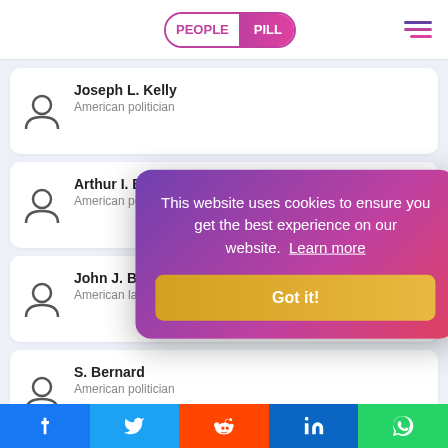PEOPLE PILL
Joseph L. Kelly — American politician
Arthur I. Boreman — American politician
John J. Burroughs — American lawyer
S. Bernard — American politician
Matthew D. — American politician
Fred Quay — American politician
This website uses cookies to ensure you get the best experience on our website. Learn more
Facebook Twitter Reddit LinkedIn WhatsApp